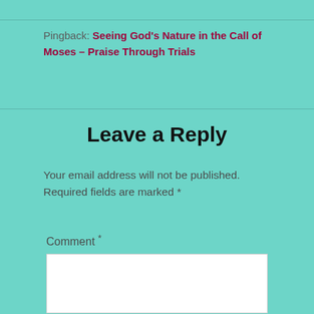Pingback: Seeing God's Nature in the Call of Moses – Praise Through Trials
Leave a Reply
Your email address will not be published. Required fields are marked *
Comment *